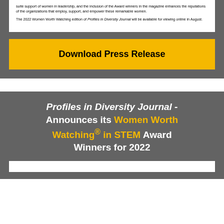suite support of women in leadership, and the inclusion of the Award winners in the magazine enhances the reputations of the organizations that employ, support, and empower these remarkable women.
The 2022 Women Worth Watching edition of Profiles in Diversity Journal will be available for viewing online in August.
Download Press Release
Profiles in Diversity Journal - Announces its Women Worth Watching® in STEM Award Winners for 2022